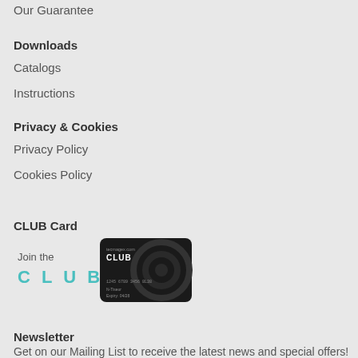Our Guarantee
Downloads
Catalogs
Instructions
Privacy & Cookies
Privacy Policy
Cookies Policy
CLUB Card
[Figure (illustration): Join the CLUB card promotional image showing a dark membership card with tecmagex.com CLUB branding and card number, alongside 'Join the CLUB' text in teal letters]
Newsletter
Get on our Mailing List to receive the latest news and special offers!